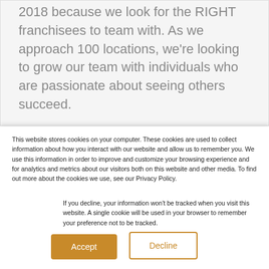2018 because we look for the RIGHT franchisees to team with. As we approach 100 locations, we're looking to grow our team with individuals who are passionate about seeing others succeed.
Our franchisees have a conviction to help their community learn about how a healthy lifestyle can
This website stores cookies on your computer. These cookies are used to collect information about how you interact with our website and allow us to remember you. We use this information in order to improve and customize your browsing experience and for analytics and metrics about our visitors both on this website and other media. To find out more about the cookies we use, see our Privacy Policy.
If you decline, your information won't be tracked when you visit this website. A single cookie will be used in your browser to remember your preference not to be tracked.